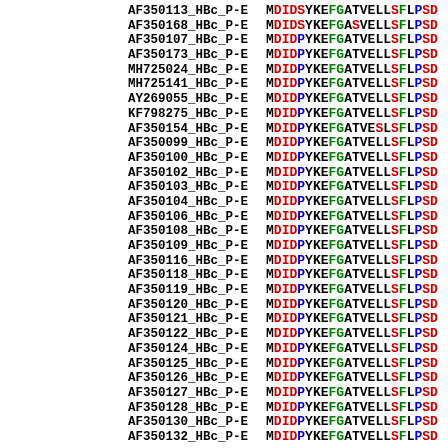[Figure (other): Multiple sequence alignment of HBc protein sequences. Each row shows a sequence identifier (e.g. AF350113_HBc_P-E) followed by a partial amino acid sequence (MDID/MDID... SYKEF/PYKEF GA TVELLS FLPSD...) with residues colored by amino acid type: red (D,S), green (F,G), blue (P), black (others).]